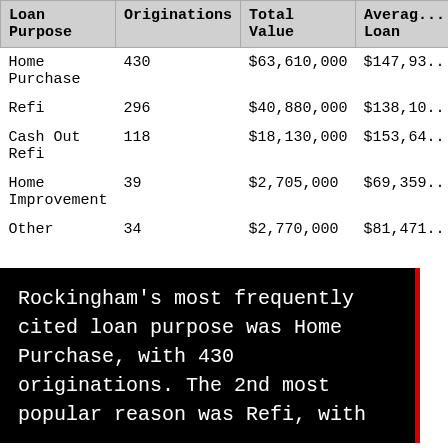| Loan Purpose | Originations | Total Value | Average Loan |
| --- | --- | --- | --- |
| Home Purchase | 430 | $63,610,000 | $147,93... |
| Refi | 296 | $40,880,000 | $138,10... |
| Cash Out Refi | 118 | $18,130,000 | $153,64... |
| Home Improvement | 39 | $2,705,000 | $69,359... |
| Other | 34 | $2,770,000 | $81,471... |
Rockingham's most frequently cited loan purpose was Home Purchase, with 430 originations. The 2nd most popular reason was Refi, with